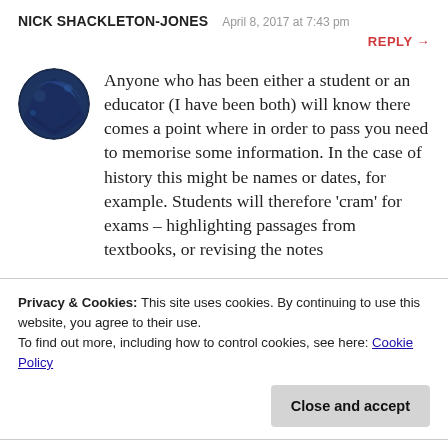NICK SHACKLETON-JONES   April 8, 2017 at 7:43 pm
REPLY →
Anyone who has been either a student or an educator (I have been both) will know there comes a point where in order to pass you need to memorise some information. In the case of history this might be names or dates, for example. Students will therefore 'cram' for exams – highlighting passages from textbooks, or revising the notes
Privacy & Cookies: This site uses cookies. By continuing to use this website, you agree to their use.
To find out more, including how to control cookies, see here: Cookie Policy
Close and accept
hoped that students would develop